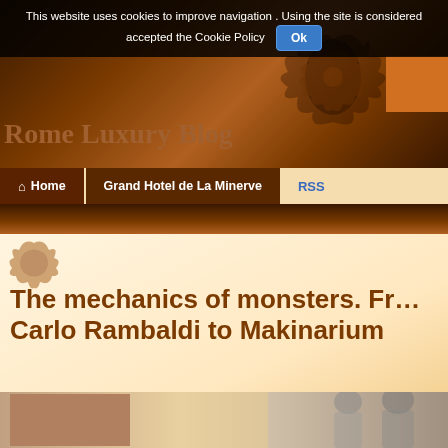This website uses cookies to improve navigation . Using the site is considered accepted the Cookie Policy  Ok
Rome Luxury Blog
[Figure (illustration): Decorative dark floral/scroll flourish on header background]
Home  Grand Hotel de La Minerve  RSS
The mechanics of monsters. Fr… Carlo Rambaldi to Makinarium
5 star hotel in Rome, 5 star Luxury Hotel in Rome, Accomodation in Rome, au hotels, Concerts in Rome, Events in Rome, Exhibitions in Rome, Fiera di Ron Hotel De La Minerve Roma, hotel in rome, Hotel Rome 5 star, Hotel Rome ce Italy, Hotel Rome Pantheon, Luxury Hotel in Rome, Luxury Hotel Rome, Rom Hotel Pantheon, rome hotel vatican city, Rome Hotels
[Figure (photo): Bottom strip showing partial photo of people/figures]